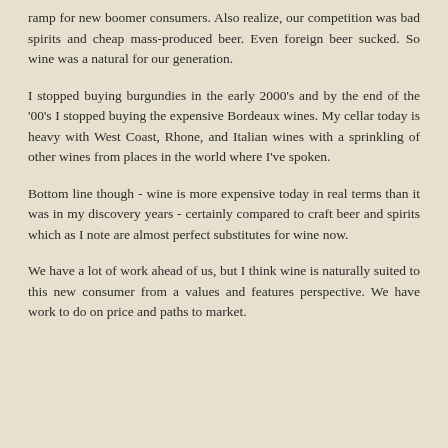ramp for new boomer consumers. Also realize, our competition was bad spirits and cheap mass-produced beer. Even foreign beer sucked. So wine was a natural for our generation.
I stopped buying burgundies in the early 2000's and by the end of the '00's I stopped buying the expensive Bordeaux wines. My cellar today is heavy with West Coast, Rhone, and Italian wines with a sprinkling of other wines from places in the world where I've spoken.
Bottom line though - wine is more expensive today in real terms than it was in my discovery years - certainly compared to craft beer and spirits which as I note are almost perfect substitutes for wine now.
We have a lot of work ahead of us, but I think wine is naturally suited to this new consumer from a values and features perspective. We have work to do on price and paths to market.